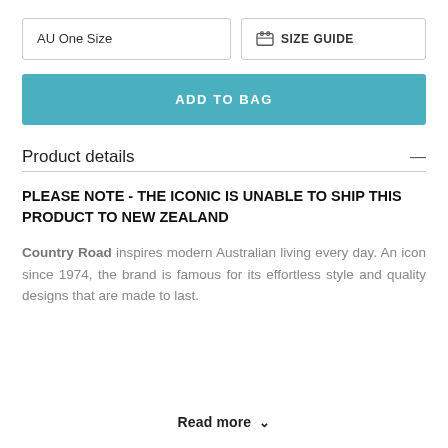AU One Size
SIZE GUIDE
ADD TO BAG
Product details
PLEASE NOTE - THE ICONIC IS UNABLE TO SHIP THIS PRODUCT TO NEW ZEALAND
Country Road inspires modern Australian living every day. An icon since 1974, the brand is famous for its effortless style and quality designs that are made to last.
Read more